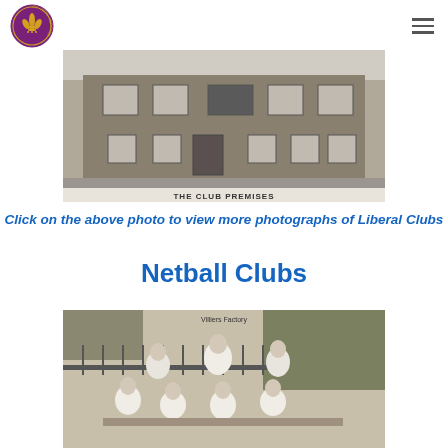[Figure (logo): Circular logo with purple border and gold fleur-de-lis motif, text around the edge]
[Figure (photo): Black and white photograph of a stone building facade labeled 'THE CLUB PREMISES']
Click on the above photo to view more photographs of Liberal Clubs
Netball Clubs
[Figure (photo): Black and white photograph of a group of women in white dresses, possibly a netball team, with text 'Villiers Factory' at the top]